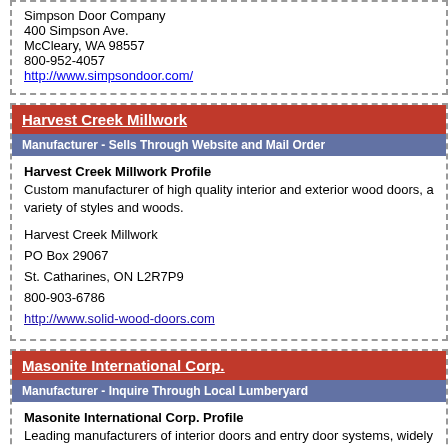Simpson Door Company
400 Simpson Ave.
McCleary, WA 98557
800-952-4057
http://www.simpsondoor.com/
Harvest Creek Millwork
Manufacturer - Sells Through Website and Mail Order
Harvest Creek Millwork Profile
Custom manufacturer of high quality interior and exterior wood doors, variety of styles and woods.
Harvest Creek Millwork
PO Box 29067
St. Catharines, ON L2R7P9
800-903-6786
http://www.solid-wood-doors.com
Masonite International Corp.
Manufacturer - Inquire Through Local Lumberyard
Masonite International Corp. Profile
Leading manufacturers of interior doors and entry door systems, widely centers.